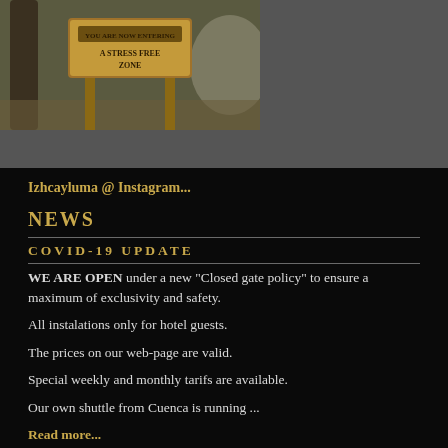[Figure (photo): Outdoor photo of a wooden sign reading 'YOU ARE NOW ENTERING A STRESS FREE ZONE' mounted on posts, surrounded by trees and natural landscape.]
Izhcayluma @ Instagram...
NEWS
COVID-19 UPDATE
WE ARE OPEN under a new "Closed gate policy" to ensure a maximum of exclusivity and safety.
All instalations only for hotel guests.
The prices on our web-page are valid.
Special weekly and monthly tarifs are available.
Our own shuttle from Cuenca is running ...
Read more...